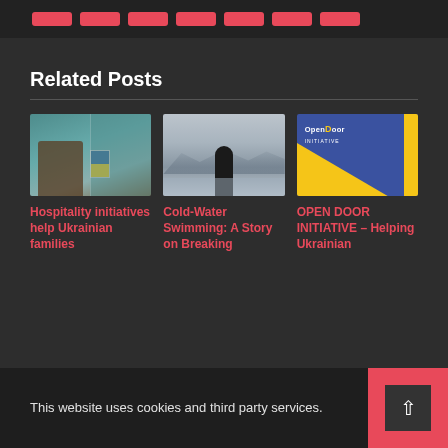[Figure (screenshot): Top navigation bar with pink/red pill-shaped buttons on dark background]
Related Posts
[Figure (photo): Interior room with leather chair and Ukrainian flag visible on a screen]
Hospitality initiatives help Ukrainian families
[Figure (photo): Person standing in water with misty mountains in background (cold water swimming)]
Cold-Water Swimming: A Story on Breaking
[Figure (logo): Open Door Initiative logo — blue background with yellow diagonal shape and door icon]
OPEN DOOR INITIATIVE – Helping Ukrainian
This website uses cookies and third party services.